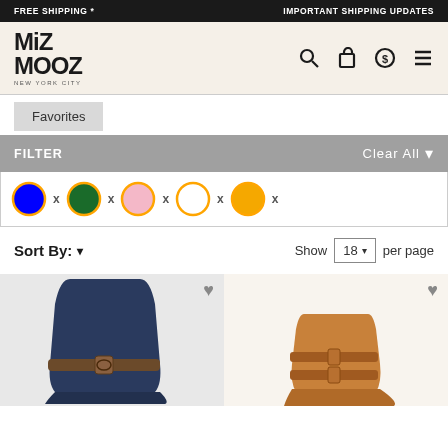FREE SHIPPING *    IMPORTANT SHIPPING UPDATES
[Figure (logo): Miz Mooz New York City logo with search, bag, currency, and menu icons]
Favorites
FILTER    Clear All
[Figure (infographic): Color filter swatches: blue (x), dark green (x), pink (x), white (x), yellow/orange (x), all with orange borders]
Sort By: ▾    Show 18 per page
[Figure (photo): Navy blue tall boot with brown buckle strap detail]
[Figure (photo): Tan/cognac ankle boot with straps and buckles]